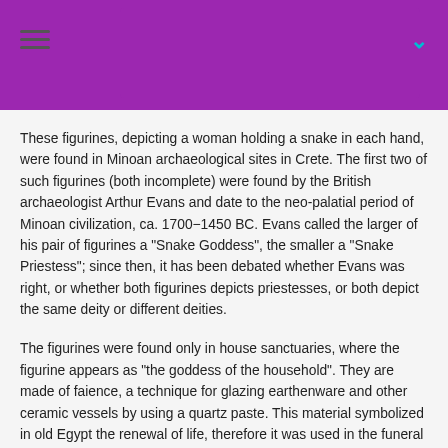These figurines, depicting a woman holding a snake in each hand, were found in Minoan archaeological sites in Crete. The first two of such figurines (both incomplete) were found by the British archaeologist Arthur Evans and date to the neo-palatial period of Minoan civilization, ca. 1700−1450 BC. Evans called the larger of his pair of figurines a "Snake Goddess", the smaller a "Snake Priestess"; since then, it has been debated whether Evans was right, or whether both figurines depicts priestesses, or both depict the same deity or different deities.
The figurines were found only in house sanctuaries, where the figurine appears as "the goddess of the household". They are made of faience, a technique for glazing earthenware and other ceramic vessels by using a quartz paste. This material symbolized in old Egypt the renewal of life, therefore it was used in the funeral cult and in the sanctuaries. After firing this produces bright